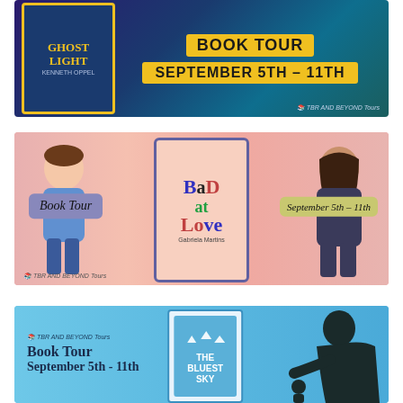[Figure (illustration): Book Tour banner for 'Ghostlight' by Kenneth Oppel. Dark blue/teal background with book cover on left, 'Book Tour September 5th – 11th' in yellow labels on right. TBR and Beyond Tours credit.]
[Figure (illustration): Book Tour banner for 'Bad at Love' by Gabriela Martins. Pink collage background with book cover in center, 'Book Tour' badge on left, 'September 5th – 11th' badge on right. Illustrated characters of a boy and girl. TBR and Beyond Tours credit.]
[Figure (illustration): Book Tour banner for 'The Bluest Sky'. Light blue background with book cover in center, 'TBR and Beyond Tours Book Tour September 5th – 11th' text on left, silhouette of person on right.]